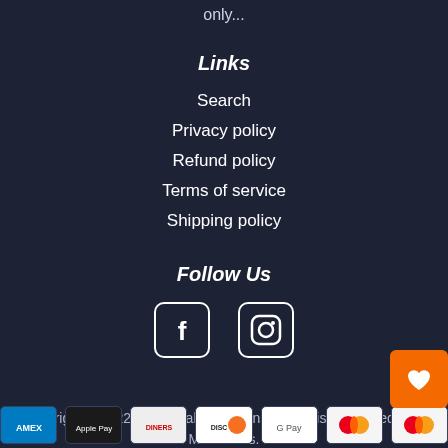only...
Links
Search
Privacy policy
Refund policy
Terms of service
Shipping policy
Follow Us
[Figure (infographic): Facebook and Instagram social media icons in white outlines on dark background]
Copyright © 2022, Historical Medallions: Fine Historical Medals & Medallions.
[Figure (infographic): Payment method icons: American Express, Apple Pay, Diners Club, Discover, Google Pay, Mastercard, Mastercard]